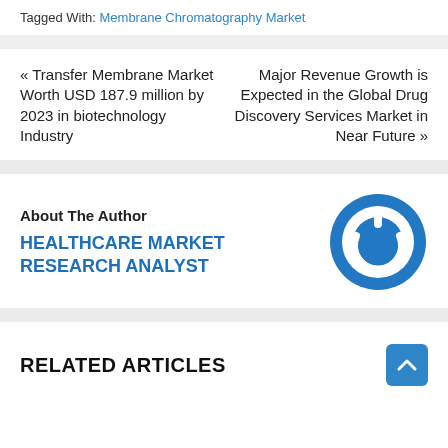Tagged With: Membrane Chromatography Market
« Transfer Membrane Market Worth USD 187.9 million by 2023 in biotechnology Industry
Major Revenue Growth is Expected in the Global Drug Discovery Services Market in Near Future »
About The Author
HEALTHCARE MARKET RESEARCH ANALYST
[Figure (logo): Blue circular power button icon]
RELATED ARTICLES